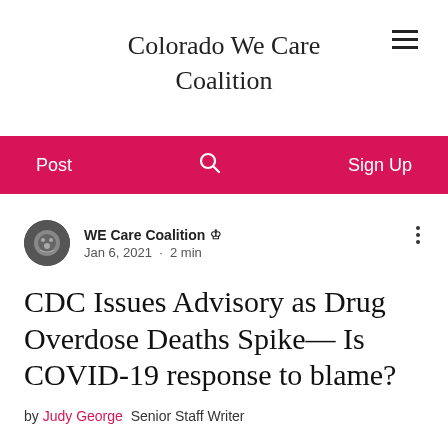Colorado We Care Coalition
Post   🔍   Sign Up
WE Care Coalition 👑
Jan 6, 2021  ·  2 min
CDC Issues Advisory as Drug Overdose Deaths Spike— Is COVID-19 response to blame?
by Judy George  Senior Staff Writer